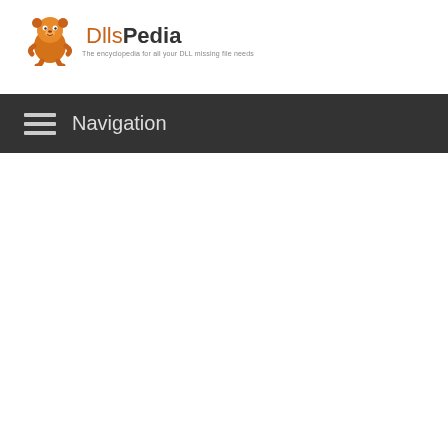[Figure (logo): DllsPedia logo with orange cartoon character mascot, text 'DllsPedia' and tagline 'The encyclopedia for all your DLL missing file needs']
Navigation